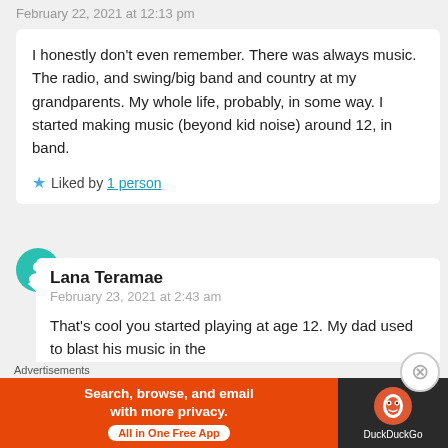February 22, 2021 at 12:13 pm
I honestly don't even remember. There was always music. The radio, and swing/big band and country at my grandparents. My whole life, probably, in some way. I started making music (beyond kid noise) around 12, in band.
★ Liked by 1 person
Lana Teramae
February 23, 2021 at 2:43 am
That's cool you started playing at age 12. My dad used to blast his music in the
[Figure (infographic): DuckDuckGo advertisement banner: orange left section with text 'Search, browse, and email with more privacy. All in One Free App' and dark right section with DuckDuckGo logo and name.]